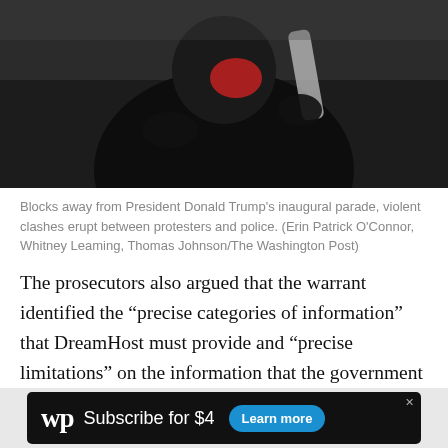[Figure (photo): Dark image of a protester in black gear and red mask, close-up, during violent clashes near President Trump's inaugural parade.]
Blocks away from President Donald Trump's inaugural parade, violent clashes erupt between protesters and police. (Erin Patrick O'Connor, Whitney Leaming, Thomas Johnson/The Washington Post)
The prosecutors also argued that the warrant identified the “precise categories of information” that DreamHost must provide and “precise limitations” on the information that the government may seize. They also argued that the Privacy Protection Act does not preclude the government from seizing even “protected” materials with a search warrant.
[Figure (other): Washington Post advertisement banner: WP logo, 'Subscribe for $4', 'Learn more' button]